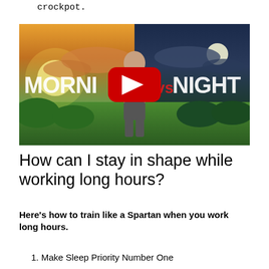crockpot.
[Figure (screenshot): YouTube video thumbnail showing a muscular man standing against a split background (sunrise on left, night sky with moon on right). Large white text reads 'MORNING vs NIGHT'. A red YouTube play button is centered over the image.]
How can I stay in shape while working long hours?
Here's how to train like a Spartan when you work long hours.
1. Make Sleep Priority Number One